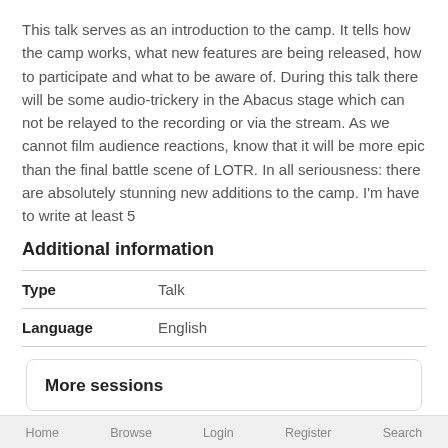This talk serves as an introduction to the camp. It tells how the camp works, what new features are being released, how to participate and what to be aware of. During this talk there will be some audio-trickery in the Abacus stage which can not be relayed to the recording or via the stream. As we cannot film audience reactions, know that it will be more epic than the final battle scene of LOTR. In all seriousness: there are absolutely stunning new additions to the camp. I'm have to write at least 5
Additional information
| Type | Talk |
| --- | --- |
| Language | English |
More sessions
Home   Browse   Login   Register   Search